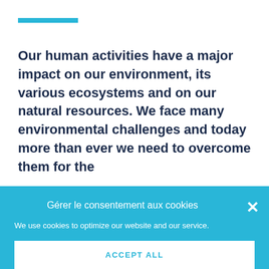[Figure (other): Cyan/teal horizontal bar decoration]
Our human activities have a major impact on our environment, its various ecosystems and on our natural resources. We face many environmental challenges and today more than ever we need to overcome them for the
Gérer le consentement aux cookies
We use cookies to optimize our website and our service.
ACCEPT ALL
REFUSE ALL
VIEW PREFERENCES